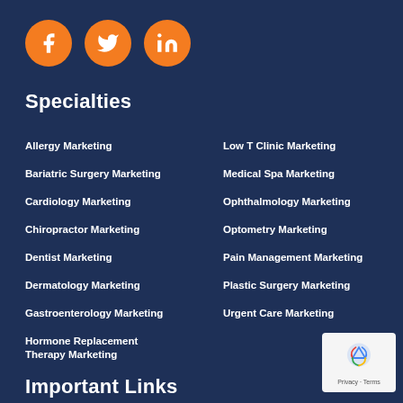[Figure (logo): Three social media icons (Facebook, Twitter, LinkedIn) as orange circles with white icons]
Specialties
Allergy Marketing
Bariatric Surgery Marketing
Cardiology Marketing
Chiropractor Marketing
Dentist Marketing
Dermatology Marketing
Gastroenterology Marketing
Hormone Replacement Therapy Marketing
Low T Clinic Marketing
Medical Spa Marketing
Ophthalmology Marketing
Optometry Marketing
Pain Management Marketing
Plastic Surgery Marketing
Urgent Care Marketing
Important Links
[Figure (logo): reCAPTCHA badge with Privacy and Terms text]